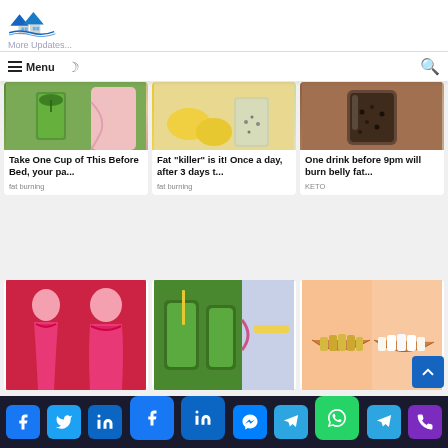[Figure (logo): House/roof logo with blue color and 'More Updates...' text below]
≡ Menu  ☽  🔍
[Figure (photo): Drink in glass with green herbs and woman's waist]
Take One Cup of This Before Bed, your pa...
fat burning
[Figure (photo): Lemons and chia seed drink in glasses]
Fat "killer" is it! Once a day, after 3 days t...
fat burning
[Figure (photo): Dark chia seed drink in glass on brown background]
One drink before 9pm will burn belly fat...
KETO
[Figure (photo): Woman in pink bikini showing body transformation]
[Figure (photo): Green smoothie drinks with woman measuring waist]
[Figure (photo): Smile comparison - before and after teeth whitening]
Social sharing buttons: Facebook, Twitter, LinkedIn, Facebook, LinkedIn, Messenger, Telegram, WhatsApp, Telegram, Phone